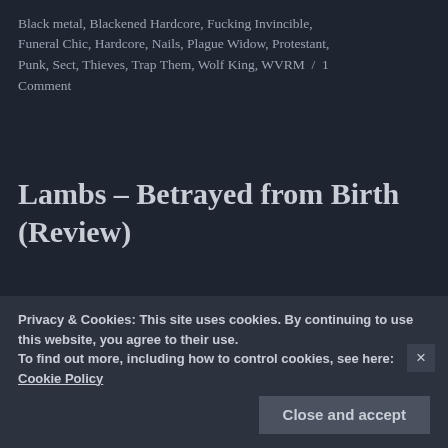Black metal, Blackened Hardcore, Fucking Invincible, Funeral Chic, Hardcore, Nails, Plague Widow, Protestant, Punk, Sect, Thieves, Trap Them, Wolf King, WVRM / 1 Comment
Lambs – Betrayed from Birth (Review)
Lambs are a...
[Figure (photo): Album cover for 'Betrayed from Birth' showing the title in gothic script with crossed keys/pins on a black background]
Privacy & Cookies: This site uses cookies. By continuing to use this website, you agree to their use.
To find out more, including how to control cookies, see here: Cookie Policy
Close and accept